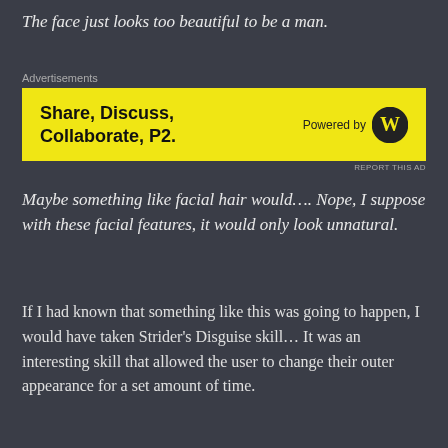The face just looks too beautiful to be a man.
[Figure (other): Advertisement banner: Share, Discuss, Collaborate, P2. Powered by WordPress logo.]
Maybe something like facial hair would.... Nope, I suppose with these facial features, it would only look unnatural.
If I had known that something like this was going to happen, I would have taken Strider's Disguise skill... It was an interesting skill that allowed the user to change their outer appearance for a set amount of time.